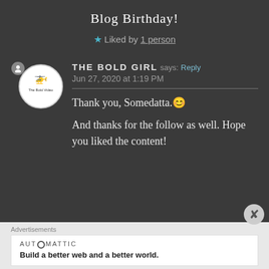Blog Birthday!
★ Liked by 1 person
THE BOLD GIRL says: Reply
Jun 27, 2020 at 1:19 PM
Thank you, Somedatta.😊
And thanks for the follow as well. Hope you liked the content!
Advertisements
AUTOMATTIC
Build a better web and a better world.